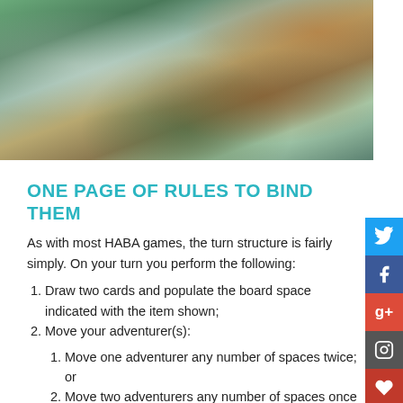[Figure (photo): Aerial/overhead photograph of a colorful board game with fantasy landscape tiles, cards, and game pieces spread out on a table]
ONE PAGE OF RULES TO BIND THEM
As with most HABA games, the turn structure is fairly simply. On your turn you perform the following:
Draw two cards and populate the board space indicated with the item shown;
Move your adventurer(s):
Move one adventurer any number of spaces twice; or
Move two adventurers any number of spaces once each.
When moving an adventurer you are allowed to move